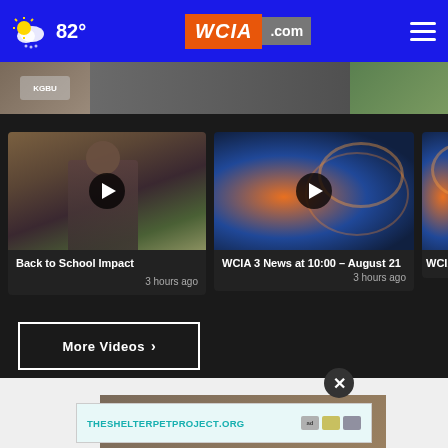82° WCIA.com
[Figure (screenshot): Banner strip with partial images]
[Figure (screenshot): Video thumbnail: Back to School Impact, person in suit standing outdoors]
Back to School Impact
3 hours ago
[Figure (screenshot): Video thumbnail: WCIA 3 News at 10:00 - August 21, broadcast graphic]
WCIA 3 News at 10:00 – August 21
3 hours ago
[Figure (screenshot): Partial video thumbnail: WCIA Saturday]
WCIA Satur
More Videos ›
[Figure (screenshot): Shelter pet project advertisement banner: THESHELTERPETPROJECT.ORG]
THESHELTERPETPROJECT.ORG
[Figure (screenshot): Partial image at bottom showing text: Part of you!]